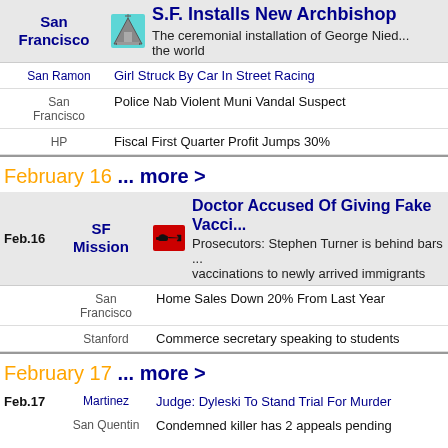| Location | Icon | Headline |
| --- | --- | --- |
| San Francisco | [icon] | S.F. Installs New Archbishop | The ceremonial installation of George Nied... the world |
| San Ramon |  | Girl Struck By Car In Street Racing |
| San Francisco |  | Police Nab Violent Muni Vandal Suspect |
| HP |  | Fiscal First Quarter Profit Jumps 30% |
February 16 ... more >
| Date | Location | Icon | Headline |
| --- | --- | --- | --- |
| Feb.16 | SF Mission | [gun icon] | Doctor Accused Of Giving Fake Vacci... | Prosecutors: Stephen Turner is behind bars ... vaccinations to newly arrived immigrants |
|  | San Francisco |  | Home Sales Down 20% From Last Year |
|  | Stanford |  | Commerce secretary speaking to students |
February 17 ... more >
| Date | Location | Headline |
| --- | --- | --- |
| Feb.17 | Martinez | Judge: Dyleski To Stand Trial For Murder |
|  | San Quentin | Condemned killer has 2 appeals pending |